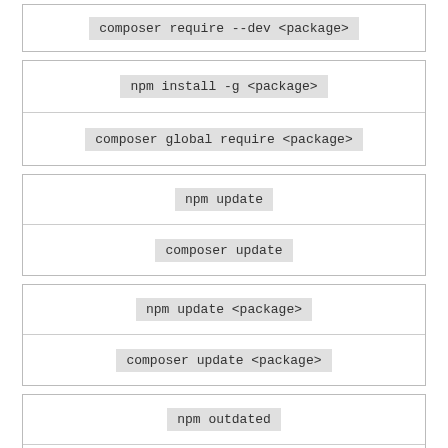| composer require --dev <package> |
| npm install -g <package> |
| composer global require <package> |
| npm update |
| composer update |
| npm update <package> |
| composer update <package> |
| npm outdated |
|  |